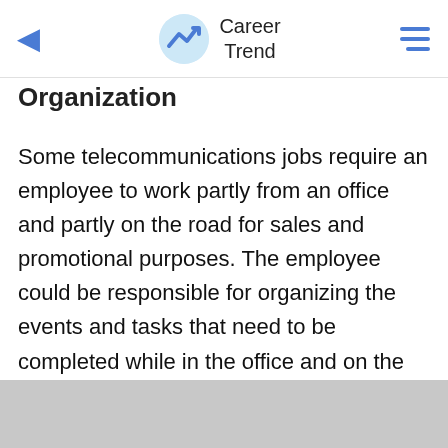Career Trend
Organization
Some telecommunications jobs require an employee to work partly from an office and partly on the road for sales and promotional purposes. The employee could be responsible for organizing the events and tasks that need to be completed while in the office and on the road. Organizational skills are important, especially if many tasks must be completed while out of the office and away from managerial supervision.